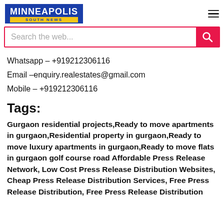MINNEAPOLIS SOUTH NEWS
Search the web...
Whatsapp – +919212306116
Email –enquiry.realestates@gmail.com
Mobile – +919212306116
Tags:
Gurgaon residential projects,Ready to move apartments in gurgaon,Residential property in gurgaon,Ready to move luxury apartments in gurgaon,Ready to move flats in gurgaon golf course road Affordable Press Release Network, Low Cost Press Release Distribution Websites, Cheap Press Release Distribution Services, Free Press Release Distribution, Free Press Release Distribution